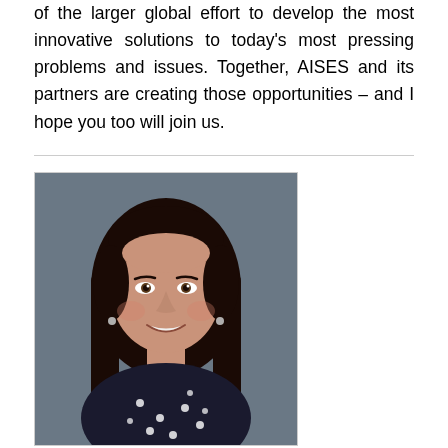of the larger global effort to develop the most innovative solutions to today's most pressing problems and issues. Together, AISES and its partners are creating those opportunities – and I hope you too will join us.
[Figure (photo): Professional headshot of a woman with long dark hair, smiling, wearing a dark blouse with white polka dots, against a dark gray background.]